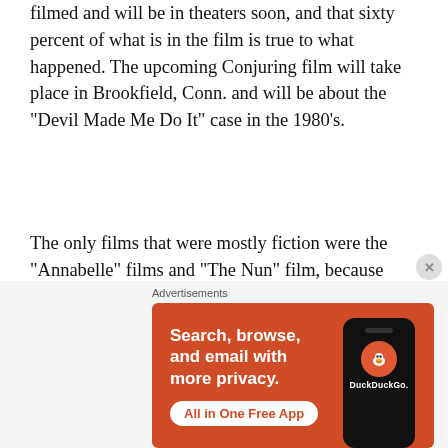filmed and will be in theaters soon, and that sixty percent of what is in the film is true to what happened. The upcoming Conjuring film will take place in Brookfield, Conn. and will be about the “Devil Made Me Do It” case in the 1980’s.
The only films that were mostly fiction were the “Annabelle” films and “The Nun” film, because Tony Spera and Lorraine Warren were not consulted about the films before they released them to the public. Judy Spera, Ed and Lorraine Warrens daughter, was also at the event and even admitted that she only went into the museum twice in her life. She said that when a child
Advertisements
[Figure (screenshot): DuckDuckGo advertisement banner with orange background. Text reads: 'Search, browse, and email with more privacy. All in One Free App'. Shows a phone mockup with DuckDuckGo logo and brand name.]